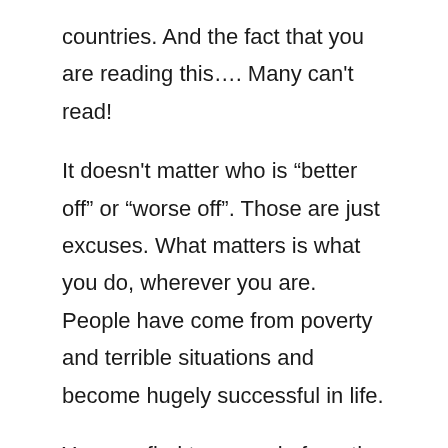countries. And the fact that you are reading this…. Many can't read!
It doesn't matter who is “better off” or “worse off”. Those are just excuses. What matters is what you do, wherever you are. People have come from poverty and terrible situations and become hugely successful in life.
You can find two people from the exact situation, poor or rich or good or bad environment, and you get two different results.